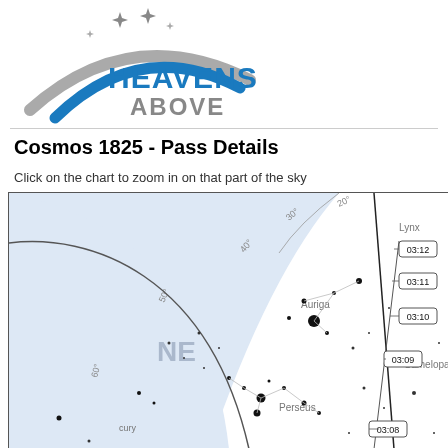[Figure (logo): Heavens Above logo with arc and stars]
Cosmos 1825 - Pass Details
Click on the chart to zoom in on that part of the sky
[Figure (map): Sky chart showing satellite pass for Cosmos 1825 over NE sky with constellation labels Auriga, Perseus, Camelopardalis, Lynx, time markers 03:08 through 03:12]